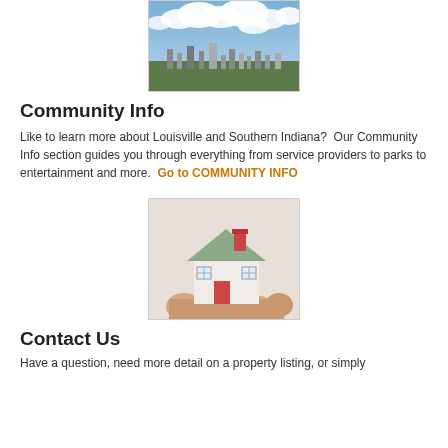[Figure (photo): Aerial cityscape photo of Louisville with clouds and skyline]
Community Info
Like to learn more about Louisville and Southern Indiana?  Our Community Info section guides you through everything from service providers to parks to entertainment and more. Go to COMMUNITY INFO
[Figure (photo): Photo of a hand holding a small model house with red chimney and green roof]
Contact Us
Have a question, need more detail on a property listing, or simply